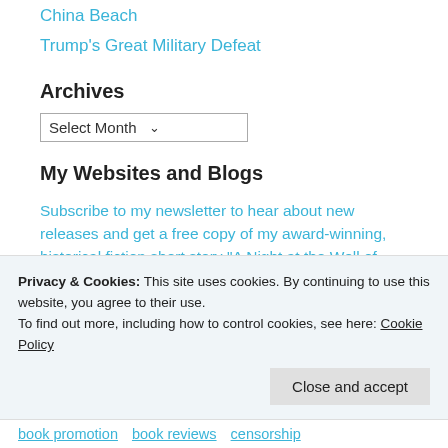China Beach
Trump's Great Military Defeat
Archives
Select Month
My Websites and Blogs
Subscribe to my newsletter to hear about new releases and get a free copy of my award-winning, historical fiction short story “A Night at the Well of Purity”.
About
Lloyd Lofthouse
Privacy & Cookies: This site uses cookies. By continuing to use this website, you agree to their use.
To find out more, including how to control cookies, see here: Cookie Policy
Close and accept
book promotion
book reviews
censorship